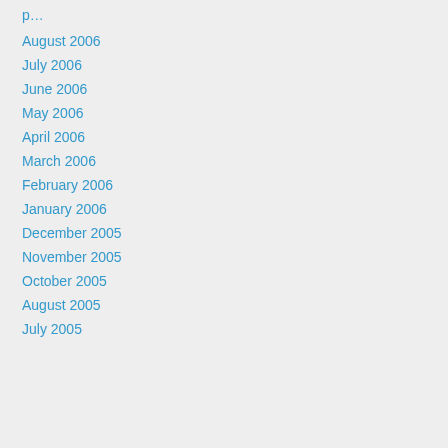August 2006
July 2006
June 2006
May 2006
April 2006
March 2006
February 2006
January 2006
December 2005
November 2005
October 2005
August 2005
July 2005